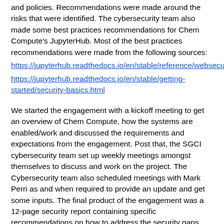and policies. Recommendations were made around the risks that were identified. The cybersecurity team also made some best practices recommendations for Chem Compute's JupyterHub. Most of the best practices recommendations were made from the following sources:
https://jupyterhub.readthedocs.io/en/stable/reference/websecurity.html
https://jupyterhub.readthedocs.io/en/stable/getting-started/security-basics.html
We started the engagement with a kickoff meeting to get an overview of Chem Compute, how the systems are enabled/work and discussed the requirements and expectations from the engagement. Post that, the SGCI cybersecurity team set up weekly meetings amongst themselves to discuss and work on the project. The Cybersecurity team also scheduled meetings with Mark Perri as and when required to provide an update and get some inputs. The final product of the engagement was a 12-page security report containing specific recommendations on how to address the security gaps identified during the engagement. Overall it was a successful engagement, thanks to Mark Perri's